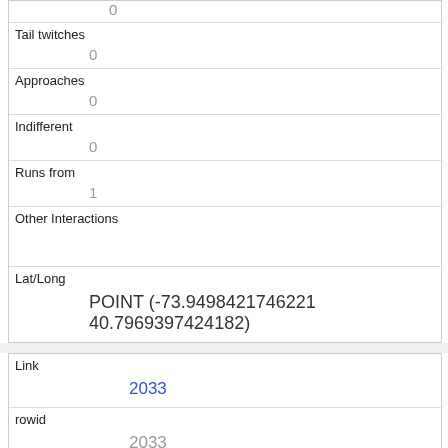| 0 |
| Tail twitches | 0 |
| Approaches | 0 |
| Indifferent | 0 |
| Runs from | 1 |
| Other Interactions |  |
| Lat/Long | POINT (-73.9498421746221 40.7969397424182) |
| Link | 2033 |
| rowid | 2033 |
| longitude | -73.9500167570283 |
| latitude |  |